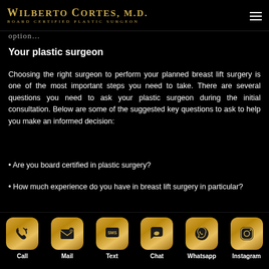WILBERTO CORTES, M.D. BOARD CERTIFIED PLASTIC SURGEON
option…
Your plastic surgeon
Choosing the right surgeon to perform your planned breast lift surgery is one of the most important steps you need to take. There are several questions you need to ask your plastic surgeon during the initial consultation. Below are some of the suggested key questions to ask to help you make an informed decision:
• Are you board certified in plastic surgery?
• How much experience do you have in breast lift surgery in particular?
Call  Mail  Text  Chat  Whatsapp  Instagram